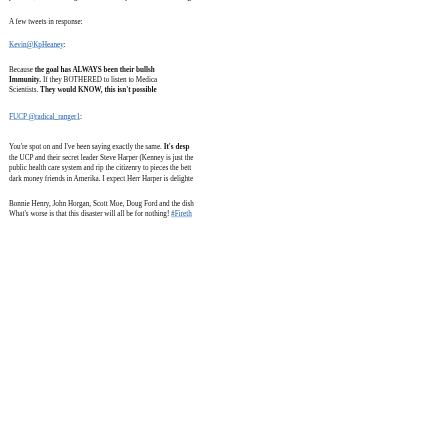province, nor not enough hours in the day... we're on a sinking
A few tweets in response:
Kevin@KpHeaney:
Because the goal has ALWAYS been their bullsh... Immunity. If they BOTHERED to listen to Medical Scientists. They would KNOW, this isn't possible
FUCP @radical_ranger1:
You're spot on and I've been saying exactly the same. It's desp... the UCP and their secret leader Steve Harper (Kenney is just the... public health care system and rip the citizenry to pieces the bett... dark money friends in Amerika. I expect Herr Harper is delighte...
Bonnie Henry, John Horgan, Scott Moe, Doug Ford and the dish... What's worse is that this disaster will all be for nothing! #Firetb...